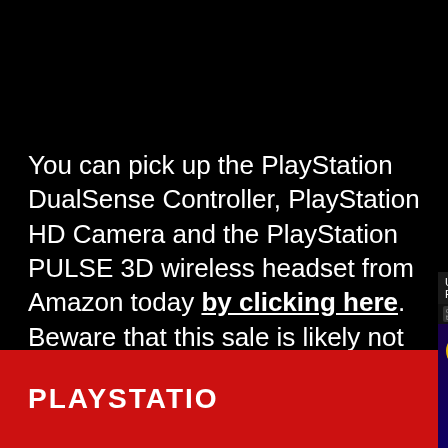You can pick up the PlayStation DualSense Controller, PlayStation HD Camera and the PlayStation PULSE 3D wireless headset from Amazon today by clicking here. Beware that this sale is likely not going to last very long, so you'd better be quick here.
[Figure (screenshot): Red PlayStation promotional banner partially covered by a 'Up Next - Samsung Galaxy Buds 2 Pro' video ad popup overlay in the bottom-right, showing a person holding earbuds and large text 'GALAXY BUDS 2 PRO' on a purple/dark background. A yellow mute button is visible.]